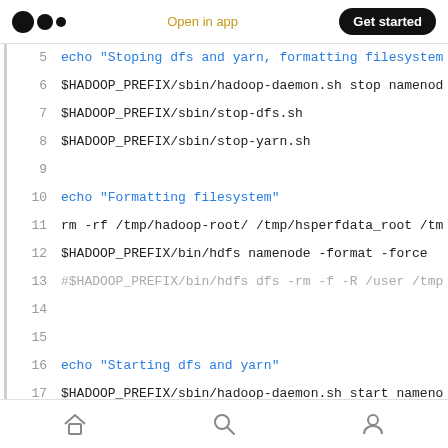Open in app | Get started
5   echo "Stoping dfs and yarn, formatting filesystem"
6   $HADOOP_PREFIX/sbin/hadoop-daemon.sh stop namenod
7   $HADOOP_PREFIX/sbin/stop-dfs.sh
8   $HADOOP_PREFIX/sbin/stop-yarn.sh
9   
10  echo "Formatting filesystem"
11  rm -rf /tmp/hadoop-root/ /tmp/hsperfdata_root /tm
12  $HADOOP_PREFIX/bin/hdfs namenode -format -force
13  #$HADOOP_PREFIX/bin/hdfs dfs -rm -f -R /user /tmp
14  
15  
16  echo "Starting dfs and yarn"
17  $HADOOP_PREFIX/sbin/hadoop-daemon.sh start nameno
18  $HADOOP_PREFIX/sbin/start-dfs.sh
19  $HADOOP_PREFIX/sbin/start-yarn.sh
20  #$HADOOP_PREFIX/bin/hdfs dfsadmin -safemode leave
Home | Search | Profile